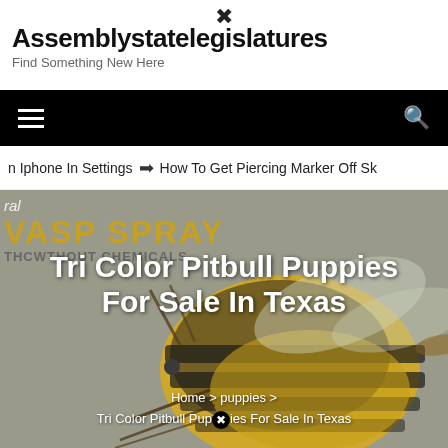Assemblystatelegislatures
Find Something New Here
On Iphone In Settings  ➔  How To Get Piercing Marker Off Sk
[Figure (screenshot): Hero image showing a close-up of a wasp/yellow jacket insect on a gray background, with a product label overlay reading 'ral / WASP SPRAY / WITHOUT CHEMICALS'. Overlaid article title text reads 'Tri Color Pitbull Puppies For Sale In Texas'. Breadcrumb below reads 'Home > puppies > Tri Color Pitbull Puppies For Sale In Texas'.]